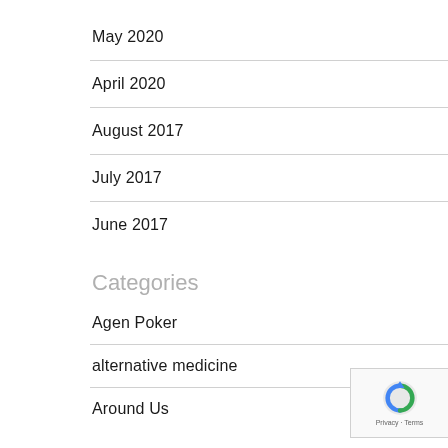May 2020
April 2020
August 2017
July 2017
June 2017
Categories
Agen Poker
alternative medicine
Around Us